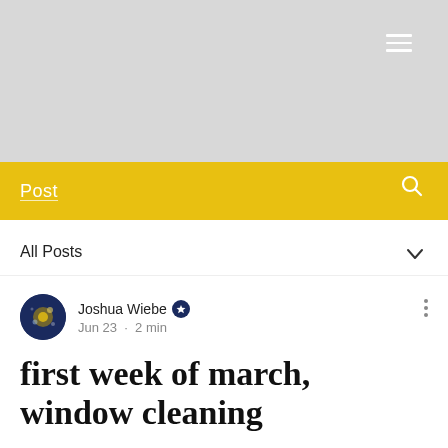[Figure (screenshot): Gray header image area with hamburger menu icon in top right]
Post
All Posts
Joshua Wiebe · Jun 23 · 2 min
first week of march, window cleaning
Updated: Aug 3